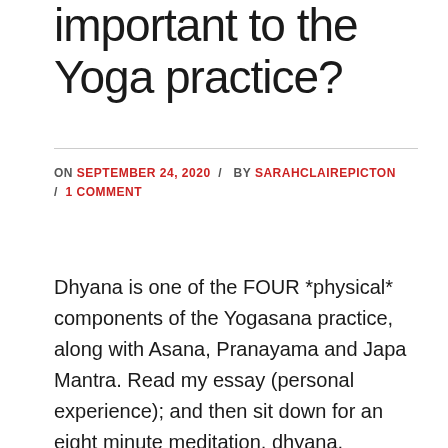important to the Yoga practice?
ON SEPTEMBER 24, 2020 / BY SARAHCLAIREPICTON / 1 COMMENT
Dhyana is one of the FOUR *physical* components of the Yogasana practice, along with Asana, Pranayama and Japa Mantra. Read my essay (personal experience); and then sit down for an eight minute meditation, dhyana, practice.